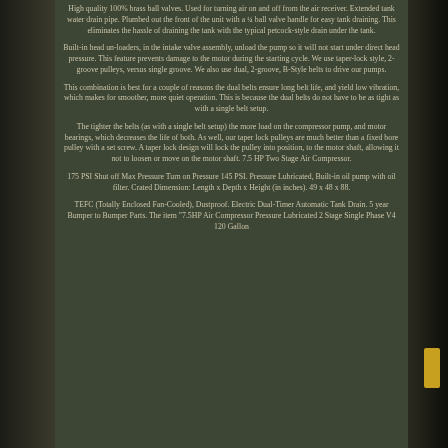High quality 100% brass ball valves. Used for turning air on and off from the air receiver. Extended tank water drain pipe. Plumbed out the front of the unit with a ¼ ball valve handle for easy tank draining. This eliminates the hassle of draining the tank with the typical petcock-style drain under the tank.
Built-in head un-loaders, in the intake valve assembly, unload the pump so it will not start under direct head pressure. This feature prevents damage to the motor during the starting cycle. We use taper-lock style, 2-groove pulleys, versus single groove. We also use dual, 2-groove, B-Style belts to drive our pumps.
This combination is best for a couple of reasons the dual belts ensure long belt life, and yield low vibration, which makes for smoother, more quiet operation. This is because the dual belts do not have to be as tight as with a single belt setup.
The tighter the belts (as with a single belt setup) the more load on the compressor pump, and motor bearings, which decreases the life of both. As well, our taper lock pulleys are much better than a fixed bore pulley with a set screw. A taper lock design will lock the pulley into position, to the motor shaft, allowing it not to loosen or move on the motor shaft. 7.5 HP Two Stage Air Compressor.
175 PSI Shut off Max Pressure Turn on Pressure 145 PSI. Pressure Lubricated, Built-in oil pump with oil filter. Crated Dimension: Length x Depth x Height (in inches). 49 x 48 x 88.
TEFC (Totally Enclosed Fan-Cooled), Dustproof. Electric Dual-Timer Automatic Tank Drain. 5 year Bumper to Bumper Parts. The item "7.5HP Air Compressor Pressure Lubricated 2 Stage Single Phase V4 120 Gallon